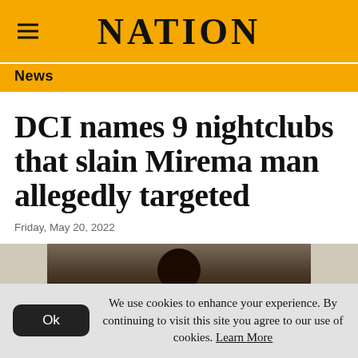NATION
News
DCI names 9 nightclubs that slain Mirema man allegedly targeted
Friday, May 20, 2022
[Figure (photo): Photo of the slain Mirema man, partially visible, dark background]
We use cookies to enhance your experience. By continuing to visit this site you agree to our use of cookies. Learn More